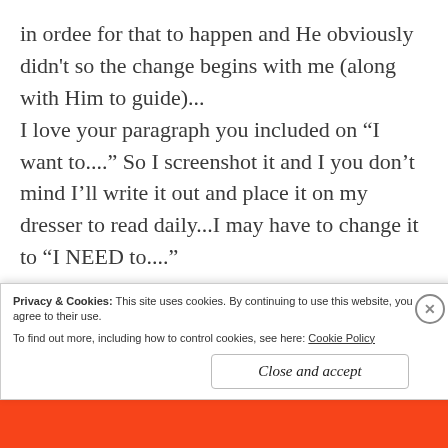in ordee for that to happen and He obviously didn't so the change begins with me (along with Him to guide)... I love your paragraph you included on “I want to....” So I screenshot it and I you don't mind I’ll write it out and place it on my dresser to read daily...I may have to change it to “I NEED to....”

Great post, very timely!!
Privacy & Cookies: This site uses cookies. By continuing to use this website, you agree to their use.
To find out more, including how to control cookies, see here: Cookie Policy